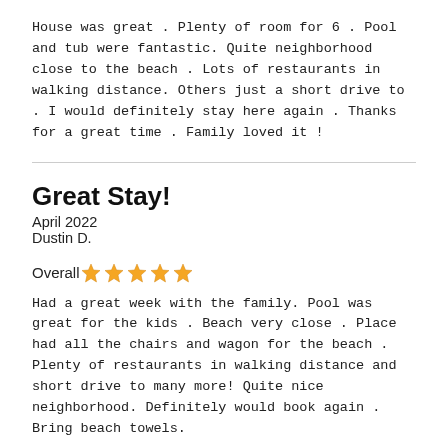House was great . Plenty of room for 6 . Pool and tub were fantastic. Quite neighborhood close to the beach . Lots of restaurants in walking distance. Others just a short drive to . I would definitely stay here again . Thanks for a great time . Family loved it !
Great Stay!
April 2022
Dustin D.
Overall ★★★★★
Had a great week with the family. Pool was great for the kids . Beach very close . Place had all the chairs and wagon for the beach . Plenty of restaurants in walking distance and short drive to many more! Quite nice neighborhood. Definitely would book again . Bring beach towels.